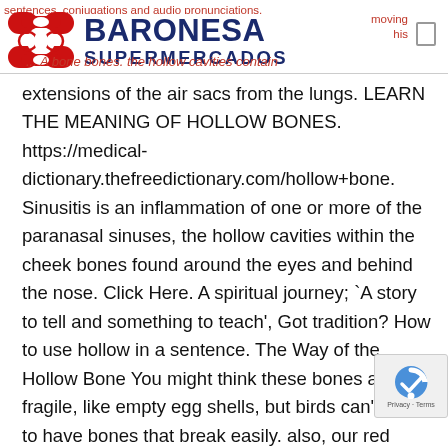sentences, conjugations and audio pronunciations.
[Figure (logo): Baronesa Supermercados logo with red interlocking circles/capsule shapes on the left and dark blue bold text 'BARONESA SUPERMERCADOS' on the right]
extensions of the air sacs from the lungs. LEARN THE MEANING OF HOLLOW BONES. https://medical-dictionary.thefreedictionary.com/hollow+bone. Sinusitis is an inflammation of one or more of the paranasal sinuses, the hollow cavities within the cheek bones found around the eyes and behind the nose. Click Here. A spiritual journey; `A story to tell and something to teach', Got tradition? How to use hollow in a sentence. The Way of the Hollow Bone You might think these bones are fragile, like empty egg shells, but birds can't afford to have bones that break easily. also, our red blood cells would have produced else where because there would be no marrow. 'a hollow metal tube'. Bird bones aren't just